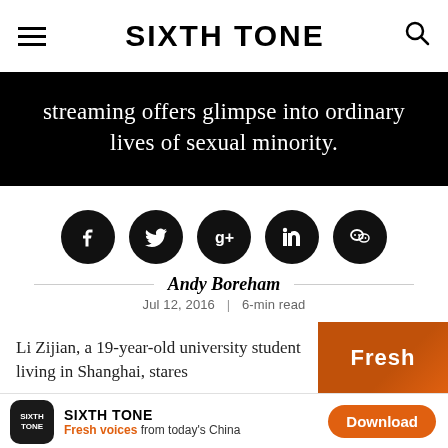SIXTH TONE
streaming offers glimpse into ordinary lives of sexual minority.
[Figure (infographic): Five social media sharing icons in black circles: Facebook, Twitter, Google+, LinkedIn, WeChat]
Andy Boreham
Jul 12, 2016 | 6-min read
Li Zijian, a 19-year-old university student living in Shanghai, stares
[Figure (other): Orange/brown background with partial text 'Fresh' visible]
SIXTH TONE — Fresh voices from today's China — Download